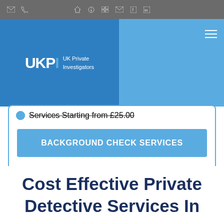Toolbar with email, phone, home, info, menu, mail, Facebook, LinkedIn icons
[Figure (logo): UKPI UK Private Investigators logo on dark blue background with light blue navigation bar]
Services Starting from £25.00
BACKGROUND CHECK SERVICES
Cost Effective Private Detective Services In